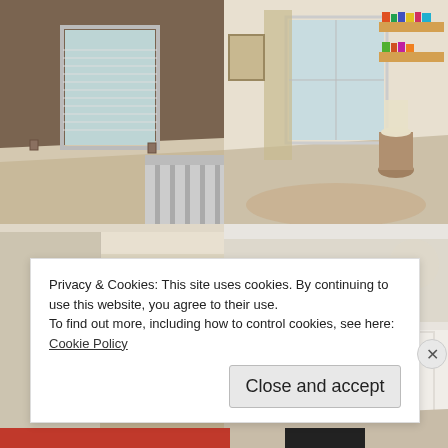[Figure (photo): Interior room photo: brown-painted walls, beige carpet, white window with blinds, stair railing visible in corner]
[Figure (photo): Interior room photo: light beige walls, beige carpet, large window with curtains, round rug on floor, small stump table, wall-mounted bookshelves with colorful books]
[Figure (photo): Interior room photo: light beige walls and ceiling corner, partial view]
[Figure (photo): Interior room photo: light beige room with white panel details, partial view]
Privacy & Cookies: This site uses cookies. By continuing to use this website, you agree to their use.
To find out more, including how to control cookies, see here:
Cookie Policy
Close and accept